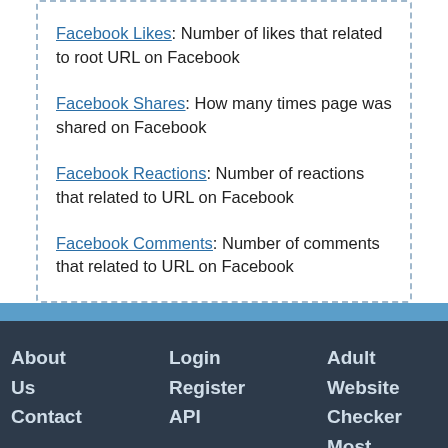Facebook Likes: Number of likes that related to root URL on Facebook
Facebook Shares: How many times page was shared on Facebook
Facebook Reactions: Number of reactions that related to URL on Facebook
Facebook Comments: Number of comments that related to URL on Facebook
About Us Contact | Login Register API | Adult Website Checker Most Visited